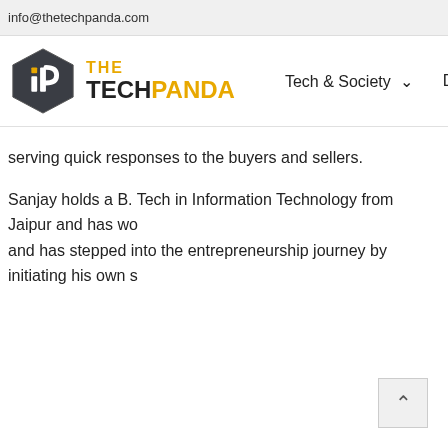info@thetechpanda.com
[Figure (logo): The Tech Panda logo: dark hexagon with 'iP' icon on left, 'THE TECH PANDA' text on right in black and gold]
Tech & Society ˅
Digita
serving quick responses to the buyers and sellers.
Sanjay holds a B. Tech in Information Technology from Jaipur and has wo and has stepped into the entrepreneurship journey by initiating his own s